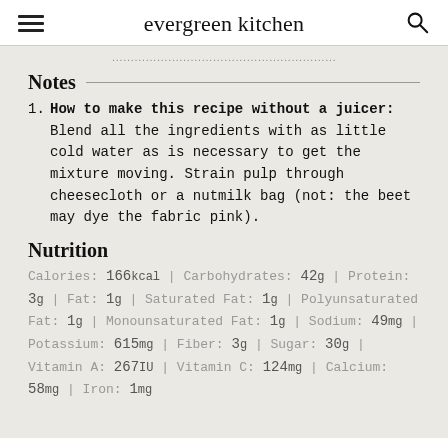evergreen kitchen
Notes
How to make this recipe without a juicer: Blend all the ingredients with as little cold water as is necessary to get the mixture moving. Strain pulp through cheesecloth or a nutmilk bag (not: the beet may dye the fabric pink).
Nutrition
Calories: 166kcal | Carbohydrates: 42g | Protein: 3g | Fat: 1g | Saturated Fat: 1g | Polyunsaturated Fat: 1g | Monounsaturated Fat: 1g | Sodium: 49mg | Potassium: 615mg | Fiber: 3g | Sugar: 30g | Vitamin A: 267IU | Vitamin C: 124mg | Calcium: 58mg | Iron: 1mg